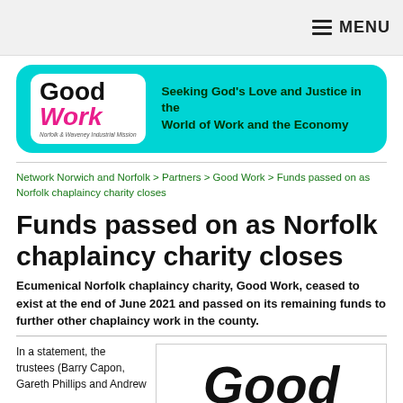MENU
[Figure (logo): Good Work Norfolk & Waveney Industrial Mission logo on cyan banner with tagline: Seeking God's Love and Justice in the World of Work and the Economy]
Network Norwich and Norfolk > Partners > Good Work > Funds passed on as Norfolk chaplaincy charity closes
Funds passed on as Norfolk chaplaincy charity closes
Ecumenical Norfolk chaplaincy charity, Good Work, ceased to exist at the end of June 2021 and passed on its remaining funds to further other chaplaincy work in the county.
In a statement, the trustees (Barry Capon, Gareth Phillips and Andrew
[Figure (logo): Good Work logo large black italic text showing 'Good']